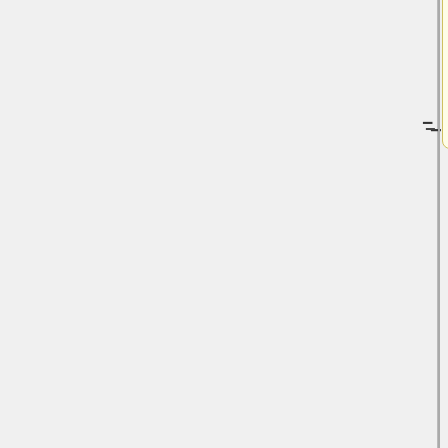the scores of individual tasks as well.  We will provide some measures of statistical significance to the results, most likely through bootstrapping the test data.
==Relevant Test Collections==
We will use a collection of 160 musical exerpts for the evaluation procedure.  40 of the excerpts have been taken from